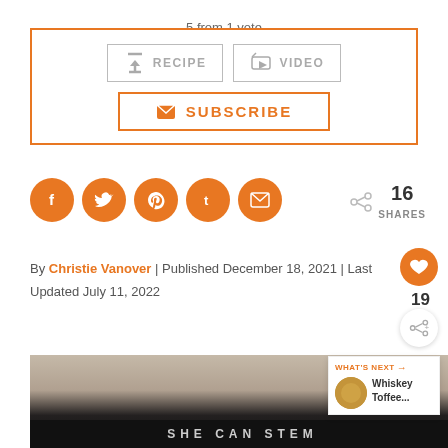5 from 1 vote
[Figure (infographic): RECIPE button with download arrow icon and VIDEO button with play icon, both with grey border]
[Figure (infographic): SUBSCRIBE button with envelope icon, orange border and text]
[Figure (infographic): Social sharing icons: Facebook, Twitter, Pinterest, Tumblr, Email - orange circles. Share icon with 16 SHARES count.]
[Figure (infographic): Heart button (orange circle) with count 19 below, and share+ button below that]
By Christie Vanover | Published December 18, 2021 | Last Updated July 11, 2022
[Figure (photo): Jack Daniels bottle label close-up photo with dark background]
[Figure (infographic): SHE CAN STEM banner text on dark background]
[Figure (infographic): WHAT'S NEXT panel with cookie thumbnail and Whiskey Toffee... text]